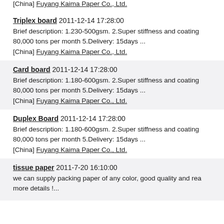[China] Fuyang Kaima Paper Co., Ltd.
Triplex board 2011-12-14 17:28:00
Brief description: 1.230-500gsm. 2.Super stiffness and coating 80,000 tons per month 5.Delivery: 15days ...
[China] Fuyang Kaima Paper Co., Ltd.
Card board 2011-12-14 17:28:00
Brief description: 1.180-600gsm. 2.Super stiffness and coating 80,000 tons per month 5.Delivery: 15days ...
[China] Fuyang Kaima Paper Co., Ltd.
Duplex Board 2011-12-14 17:28:00
Brief description: 1.180-600gsm. 2.Super stiffness and coating 80,000 tons per month 5.Delivery: 15days ...
[China] Fuyang Kaima Paper Co., Ltd.
tissue paper 2011-7-20 16:10:00
we can supply packing paper of any color, good quality and rea more details !...